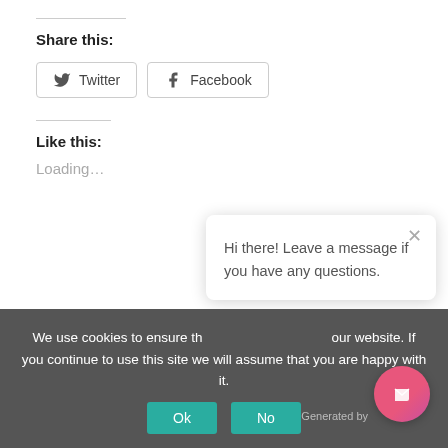Share this:
Twitter  Facebook
Like this:
Loading…
Hi there! Leave a message if you have any questions.
We use cookies to ensure the best experience on our website. If you continue to use this site we will assume that you are happy with it.
Ok  No
Generated by